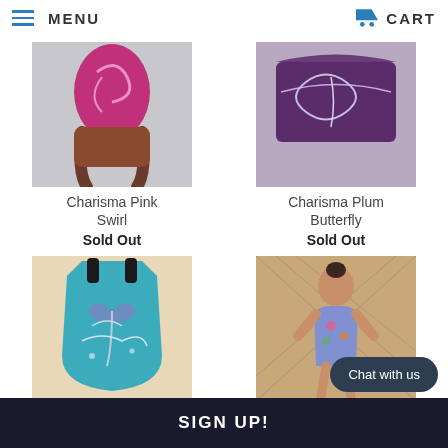MENU | CART
[Figure (photo): Pink gymnastics leotard worn by a dark-skinned model, torso/lower body view]
[Figure (photo): Plum/purple gymnastics leotard laid flat on surface]
Charisma Pink Swirl
Sold Out
Charisma Plum Butterfly
Sold Out
[Figure (photo): Teal gymnastics leotard with silver butterfly/swirl design laid flat]
[Figure (photo): Young girl wearing floral gymnastics leotard standing outdoors near chain-link fence at golden hour]
Chat with us
SIGN UP!